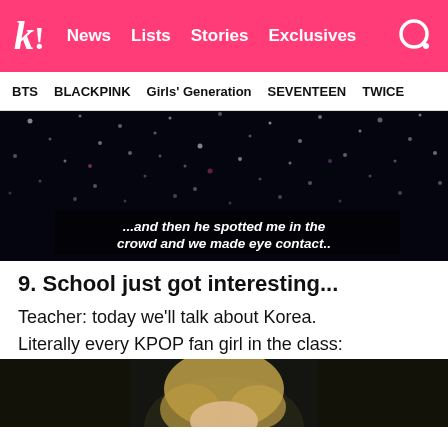k! News Lists Stories Exclusives
BTS BLACKPINK Girls' Generation SEVENTEEN TWICE
[Figure (photo): Dark concert scene with scattered light bokeh/confetti points, subtitle text reading '...and then he spotted me in the crowd and we made eye contact..']
9. School just got interesting...
Teacher: today we'll talk about Korea.
Literally every KPOP fan girl in the class:
[Figure (photo): Partial photo of a blonde girl looking up, dark background]